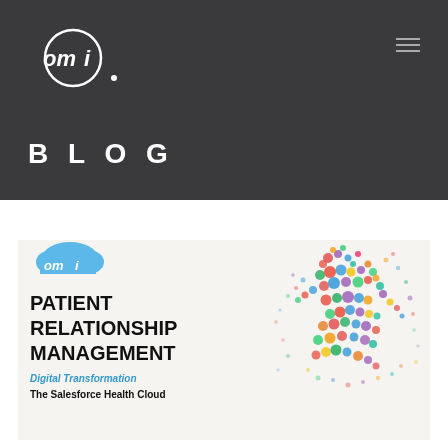[Figure (logo): OMI logo in white on dark background, circular design with 'omi' text]
[Figure (other): Hamburger menu icon (three horizontal lines) in top right of dark header]
BLOG
[Figure (illustration): Blog post card with OMI cloud logo, text 'PATIENT RELATIONSHIP MANAGEMENT', subtitle 'Digital Transformation', and 'The Salesforce Health Cloud', alongside a colorful dot-art running figure illustration on the right]